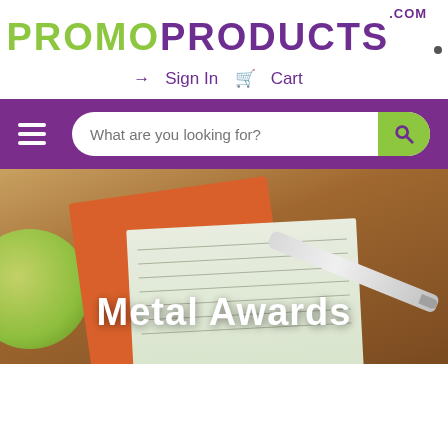[Figure (logo): PromoProducts.com logo in green and purple uppercase letters with a dot]
→ Sign In  🛒 Cart
[Figure (screenshot): Purple navigation bar with hamburger menu icon on the left and a search input field reading 'What are you looking for?' with a green search button on the right]
[Figure (photo): Hero banner photo of a wooden desk with a green bowl, orange notebook, ruled notepad, and a branded pen with 'YOUR LOGO HERE' text]
Metal Awards